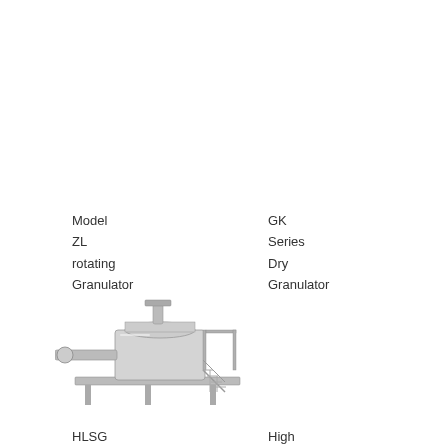Model
ZL
rotating
Granulator
GK
Series
Dry
Granulator
GHL
Series
High
Speed
Mixer/Granulator
[Figure (photo): Industrial HLSG series high speed mixer/granulator machine, stainless steel construction with platform and drive shaft]
HLSG
Series
High
High
Efficient
GHL